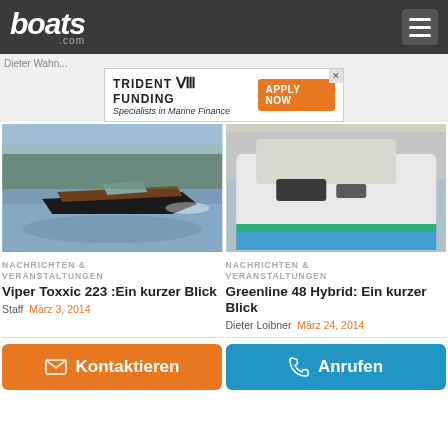boats.com
Dieter Wahn...
[Figure (other): Trident Funding advertisement banner — Specialists in Marine Finance — APPLY NOW button]
[Figure (photo): Speedboat (Viper Toxxic 223) on water, cutting through waves]
[Figure (photo): Greenline 48 Hybrid motorboat displayed at boat show indoors]
NACHRICHTEN & VERANSTALTUNGEN
Viper Toxxic 223 :Ein kurzer Blick
Staff März 3, 2014
NACHRICHTEN & VERANSTALTUNGEN
Greenline 48 Hybrid: Ein kurzer Blick
Dieter Loibner März 24, 2014
Kontaktieren
Anrufen